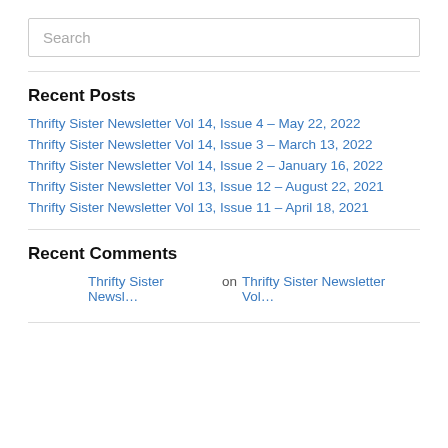Search
Recent Posts
Thrifty Sister Newsletter Vol 14, Issue 4 – May 22, 2022
Thrifty Sister Newsletter Vol 14, Issue 3 – March 13, 2022
Thrifty Sister Newsletter Vol 14, Issue 2 – January 16, 2022
Thrifty Sister Newsletter Vol 13, Issue 12 – August 22, 2021
Thrifty Sister Newsletter Vol 13, Issue 11 – April 18, 2021
Recent Comments
Thrifty Sister Newsl… on Thrifty Sister Newsletter Vol…